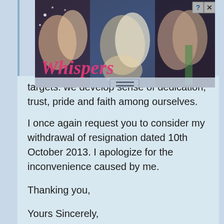[Figure (screenshot): Advertisement banner for 'Whispers' app showing romantic couples in a collage with pink Whispers logo text and close/help buttons in top right corner]
targets. we develop sense of dedication, trust, pride and faith among ourselves.
I once again request you to consider my withdrawal of resignation dated 10th October 2013. I apologize for the inconvenience caused by me.
Thanking you,
Yours Sincerely,
----------------
Ramakrishna Prasad,